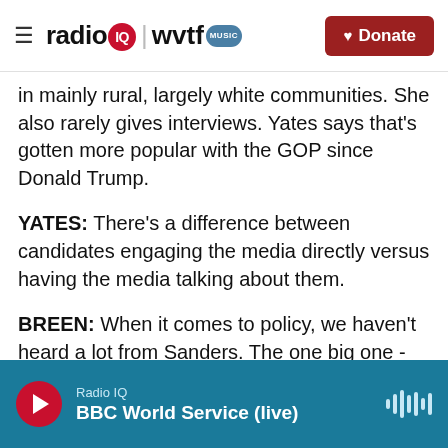radio IQ | wvtf MUSIC — Donate
in mainly rural, largely white communities. She also rarely gives interviews. Yates says that's gotten more popular with the GOP since Donald Trump.
YATES: There's a difference between candidates engaging the media directly versus having the media talking about them.
BREEN: When it comes to policy, we haven't heard a lot from Sanders. The one big one - her proposal to end the state's income tax. Her father, former Governor Mike Huckabee, supports that despite having raised taxes during his time in office.
Radio IQ — BBC World Service (live)